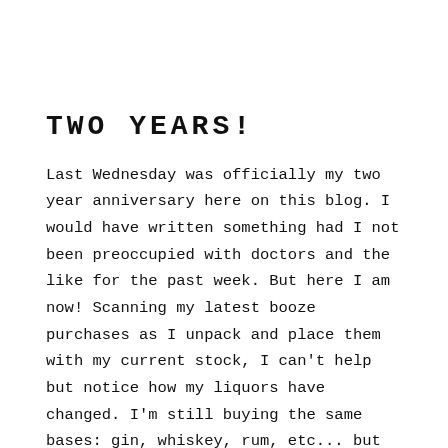TWO YEARS!
Last Wednesday was officially my two year anniversary here on this blog. I would have written something had I not been preoccupied with doctors and the like for the past week. But here I am now! Scanning my latest booze purchases as I unpack and place them with my current stock, I can't help but notice how my liquors have changed. I'm still buying the same bases: gin, whiskey, rum, etc... but when I look over the brands, it's what I don't see anymore that amuses me. I remember when the only whiskey I had on hand was Jack Daniels. And there was a bottle of the...